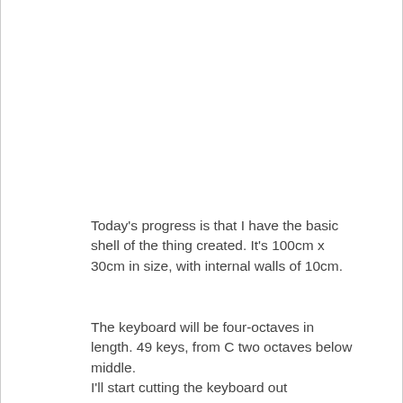Today's progress is that I have the basic shell of the thing created. It's 100cm x 30cm in size, with internal walls of 10cm.
The keyboard will be four-octaves in length. 49 keys, from C two octaves below middle.
I'll start cutting the keyboard out